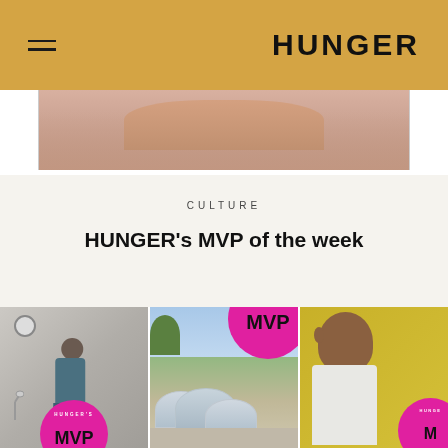HUNGER
[Figure (photo): Partial cropped photo at top of page showing a person, cut off by header]
CULTURE
HUNGER's MVP of the week
[Figure (photo): Three-panel photo grid: left panel shows woman in teal outfit in office setting with clock on wall; center panel shows futuristic silver pod buildings with trees; right panel shows man in white t-shirt against yellow background. Pink MVP sticker badges overlaid on images.]